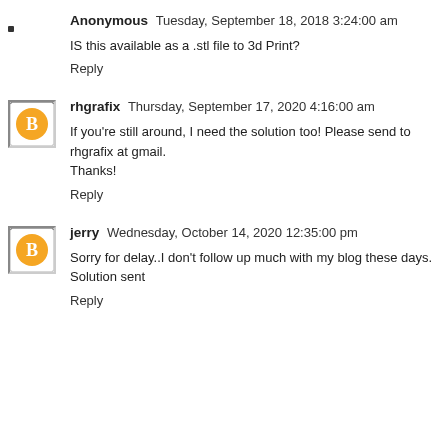Anonymous  Tuesday, September 18, 2018 3:24:00 am
IS this available as a .stl file to 3d Print?
Reply
rhgrafix  Thursday, September 17, 2020 4:16:00 am
If you're still around, I need the solution too! Please send to rhgrafix at gmail.
Thanks!
Reply
jerry  Wednesday, October 14, 2020 12:35:00 pm
Sorry for delay..I don't follow up much with my blog these days. Solution sent
Reply